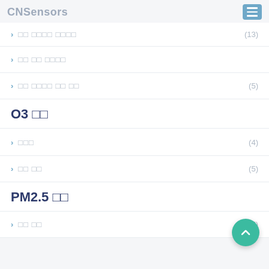CNSensors
한국 대기환경 측정망 (13)
대기 환경 측정망
대기 오염물질 측정 방법 (5)
O3 센서
측정원리 (4)
센서 제품 (5)
PM2.5 센서
센서 원리 (7)
[Figure (illustration): Live Chat overlay button with user icon]
[Figure (illustration): Floating action button (FAB) with upward chevron, teal color]